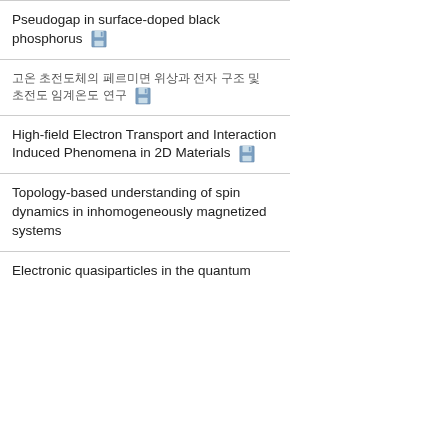Pseudogap in surface-doped black phosphorus
고온 초전도체의 페르미면 위상과 전자 구조 및 초전도 임계온도 연구
High-field Electron Transport and Interaction Induced Phenomena in 2D Materials
Topology-based understanding of spin dynamics in inhomogeneously magnetized systems
Electronic quasiparticles in the quantum